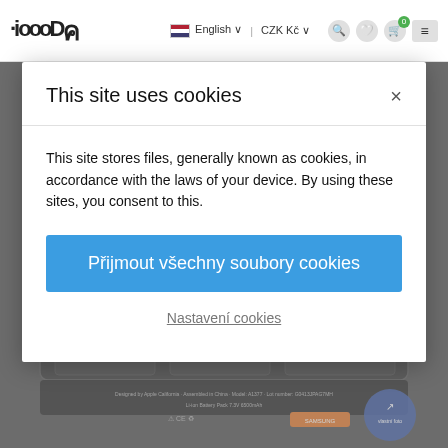[Figure (screenshot): Website header with iGooDS logo on the left. Top right shows English language selector with US flag and CZK Kč currency selector, plus search, wishlist, cart (with green badge showing 0), and menu icons.]
[Figure (screenshot): Background product photo showing a dark laptop battery pack viewed from above, with certification markings visible at the bottom.]
This site uses cookies
This site stores files, generally known as cookies, in accordance with the laws of your device. By using these sites, you consent to this.
Přijmout všechny soubory cookies
Nastavení cookies